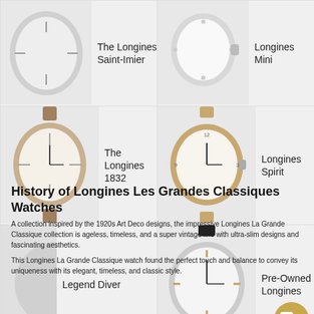[Figure (photo): Grid of 6 Longines watch product cards: The Longines Saint-Imier, Longines Mini, The Longines 1832, Longines Spirit, Legend Diver, Pre-Owned Longines]
History of Longines Les Grandes Classiques Watches
A collection inspired by the 1920s Art Deco designs, the impressive Longines La Grande Classique collection is ageless, timeless, and a super vintage line with ultra-slim designs and fascinating aesthetics.
This Longines La Grande Classique watch found the perfect touch and balance to convey its uniqueness with its elegant, timeless, and classic style.